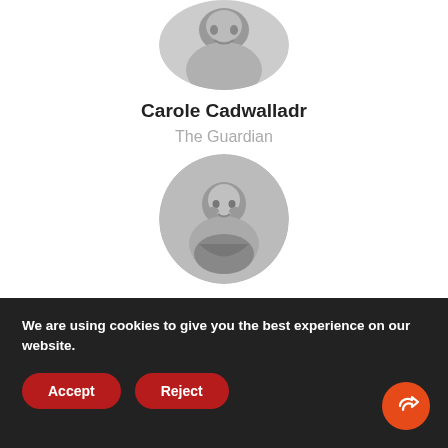[Figure (photo): Circular black and white photo of Carole Cadwalladr, partially cropped at top]
Carole Cadwalladr
The Guardian
[Figure (photo): Circular black and white photo of Rawan Damen]
Rawan Damen
ARIJ
We are using cookies to give you the best experience on our website.
Accept
Reject